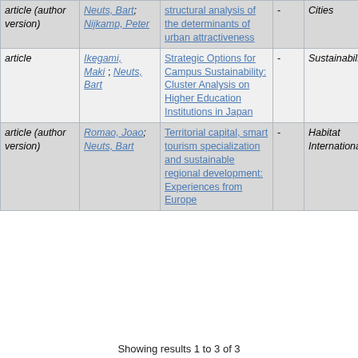| Type | Authors | Title |  | Journal |  | Date |
| --- | --- | --- | --- | --- | --- | --- |
| article (author version) | Neuts, Bart; Nijkamp, Peter | structural analysis of the determinants of urban attractiveness | - | Cities | - | Au |
| article | Ikegami, Maki; Neuts, Bart | Strategic Options for Campus Sustainability: Cluster Analysis on Higher Education Institutions in Japan | - | Sustainability | - | 2-Ma |
| article (author version) | Romao, Joao; Neuts, Bart | Territorial capital, smart tourism specialization and sustainable regional development: Experiences from Europe | - | Habitat International | - | Oc |
Showing results 1 to 3 of 3